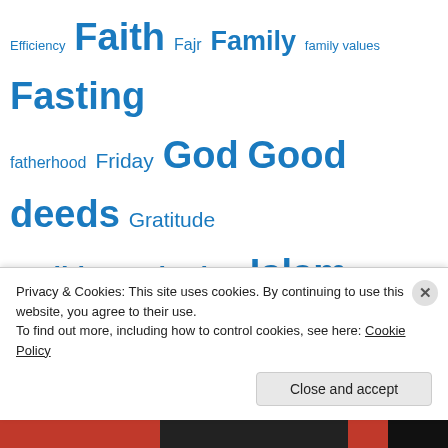[Figure (infographic): Tag cloud with Islamic and religious topics in varying font sizes, all in blue. Tags include: Efficiency, Faith, Fajr, Family, family values, Fasting, fatherhood, Friday, God, Good deeds, Gratitude, Hadith, Inspiration, Islam, Islamic Law, Jews, Jummah, Jumuah, Kids, Koran, Life, Lifestyle, Love, marriage, Monotheism, Moses, mosque, Muhammad, musjid, Muslim, Muslim Family, Muslim Kids, Muslims, Prayer]
Privacy & Cookies: This site uses cookies. By continuing to use this website, you agree to their use. To find out more, including how to control cookies, see here: Cookie Policy